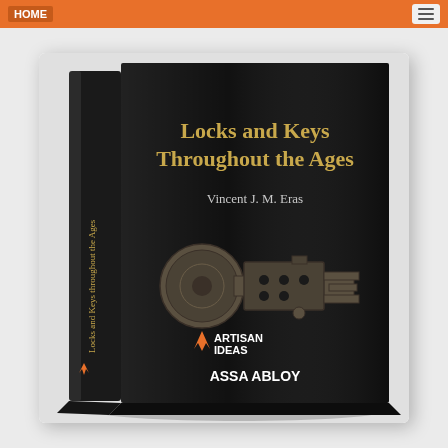HOME
[Figure (photo): Book cover of 'Locks and Keys Throughout the Ages' by Vincent J. M. Eras, published by Artisan Ideas and ASSA ABLOY. The cover is black with gold title text and shows an antique lock mechanism in the center. The spine shows the title text vertically.]